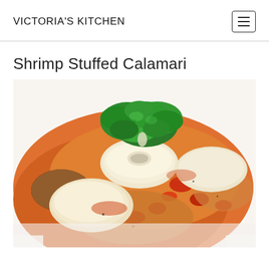VICTORIA'S KITCHEN
Shrimp Stuffed Calamari
[Figure (photo): Close-up photo of shrimp stuffed calamari in tomato sauce, garnished with fresh green parsley on top, served on a white plate. The calamari tubes are pale white/ivory, surrounded by chunky orange-red tomato sauce.]